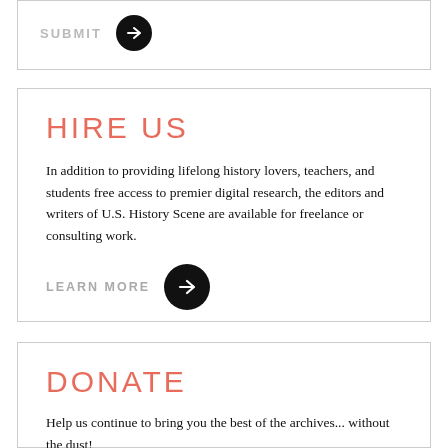SUBMIT
HIRE US
In addition to providing lifelong history lovers, teachers, and students free access to premier digital research, the editors and writers of U.S. History Scene are available for freelance or consulting work.
LEARN MORE
DONATE
Help us continue to bring you the best of the archives... without the dust!